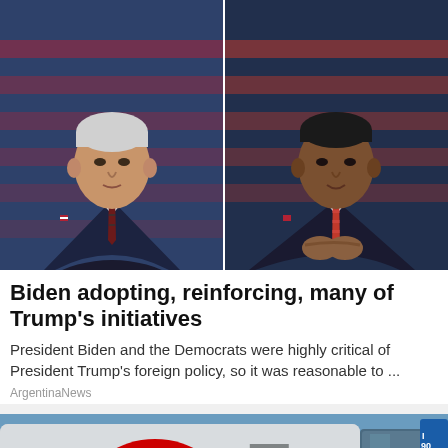[Figure (photo): Side-by-side photos of two political figures in dark suits. Left: a man with white hair in a dark suit with a dark striped tie, in front of an American flag. Right: a man in a dark suit with a red tie, hands clasped, in front of an American flag.]
Biden adopting, reinforcing, many of Trump's initiatives
President Biden and the Democrats were highly critical of President Trump's foreign policy, so it was reasonable to ...
ArgentinaNews
[Figure (photo): Close-up photo of the rear of a silver electric vehicle (Smart car or similar EV) showing red tail lights and a charging port with a connector plugged in. The letter 'E' is visible on the car body.]